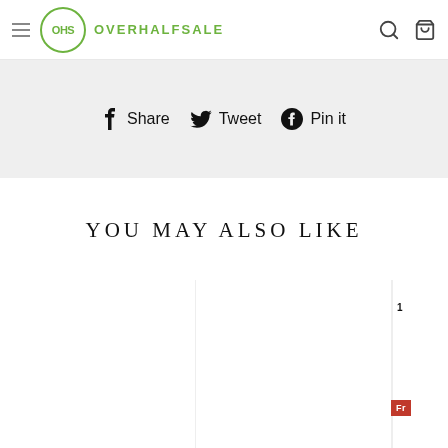OHS OVERHALFSALE
Share  Tweet  Pin it
YOU MAY ALSO LIKE
[Figure (other): Product listing area with partial product card visible, showing a sale badge labeled Fr]